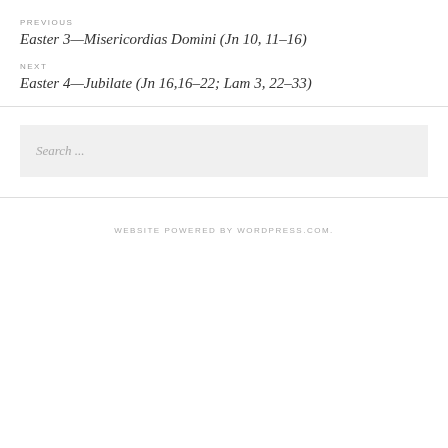PREVIOUS
Easter 3—Misericordias Domini (Jn 10, 11–16)
NEXT
Easter 4—Jubilate (Jn 16,16–22; Lam 3, 22–33)
Search ...
WEBSITE POWERED BY WORDPRESS.COM.